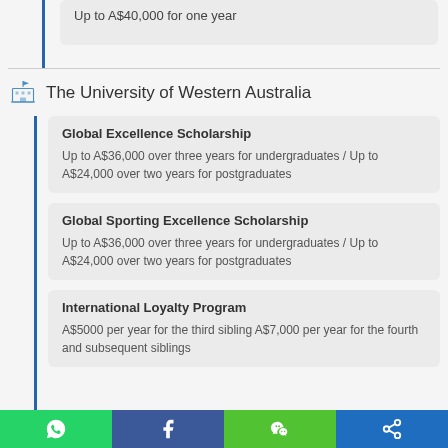Up to A$40,000 for one year
The University of Western Australia
Global Excellence Scholarship
Up to A$36,000 over three years for undergraduates / Up to A$24,000 over two years for postgraduates
Global Sporting Excellence Scholarship
Up to A$36,000 over three years for undergraduates / Up to A$24,000 over two years for postgraduates
International Loyalty Program
A$5000 per year for the third sibling A$7,000 per year for the fourth and subsequent siblings